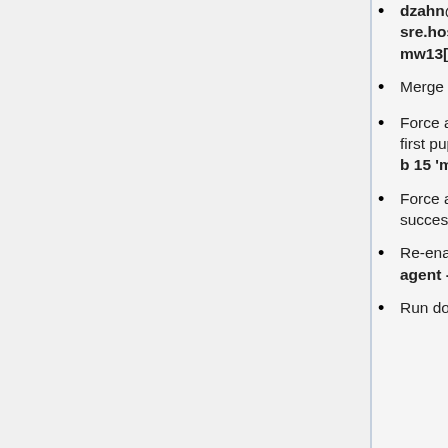dzahn@cumin1001:~$ sudo cookbook sre.hosts.downtime -r new_install -t T236437 -H 1 mw13[63,74-83].eqiad.wmnet
Merge the patch to add puppet roles to the new servers.
Force a puppet run via cumin. Some errors are normal in the first puppet run. ex: dzahn@cumin1001:~$ sudo -i cumin -b 15 'mw13[63,74-83].eqiad.wmnet' 'run-puppet-agent -q'
Force a second puppet run via cumin. It should complete successfully.
Re-enable puppet on icinga: [icinga1001:~] $ sudo puppet agent --enable
Run downtime with force-puppet-run via cumin ex: